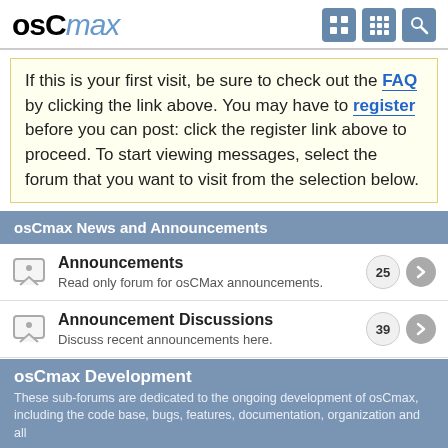osCmax
If this is your first visit, be sure to check out the FAQ by clicking the link above. You may have to register before you can post: click the register link above to proceed. To start viewing messages, select the forum that you want to visit from the selection below.
osCmax News and Announcements
Announcements
Read only forum for osCMax announcements.
25
Announcement Discussions
Discuss recent announcements here.
39
osCmax Development
These sub-forums are dedicated to the ongoing development of osCmax, including the code base, bugs, features, documentation, organization and all